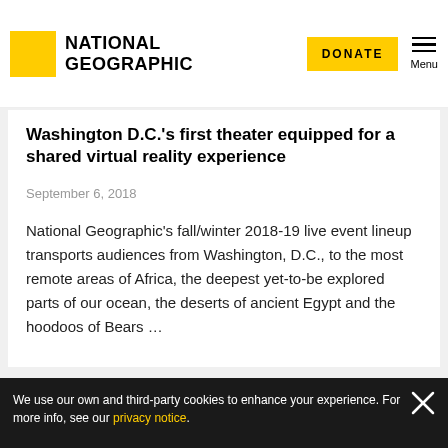NATIONAL GEOGRAPHIC
Washington D.C.'s first theater equipped for a shared virtual reality experience
September 6, 2018
National Geographic's fall/winter 2018-19 live event lineup transports audiences from Washington, D.C., to the most remote areas of Africa, the deepest yet-to-be explored parts of our ocean, the deserts of ancient Egypt and the hoodoos of Bears ...
We use our own and third-party cookies to enhance your experience. For more info, see our privacy notice.